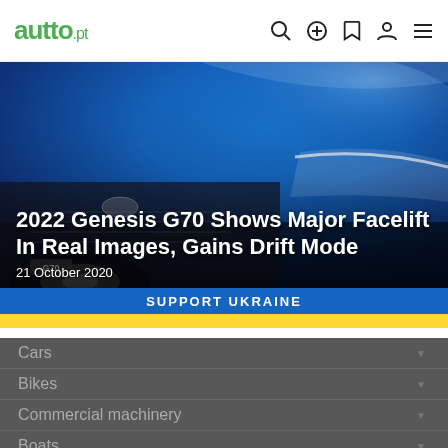autto.pt
[Figure (photo): Blue Genesis G70 car front end close-up, showing headlight and grille]
2022 Genesis G70 Shows Major Facelift In Real Images, Gains Drift Mode
21 October 2020
SUPPORT UKRAINE
Cars
Bikes
Commercial machinery
Boats
About Us
autto.pt ©2016-2022 - autto.pt